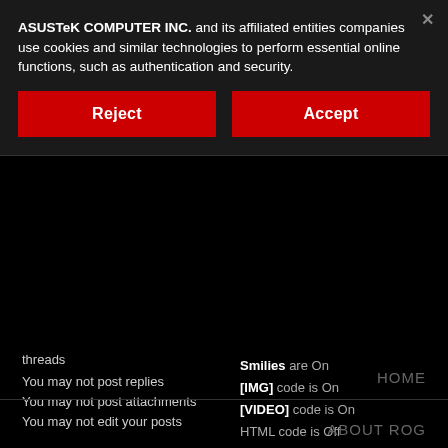ASUSTeK COMPUTER INC. and its affiliated entities companies use cookies and similar technologies to perform essential online functions, such as authentication and security.
Reject
Accept
threads
You may not post replies
You may not post attachments
You may not edit your posts
Smilies are On
[IMG] code is On
[VIDEO] code is On
HTML code is Off
Forum
Rules
HOME
ABOUT ROG